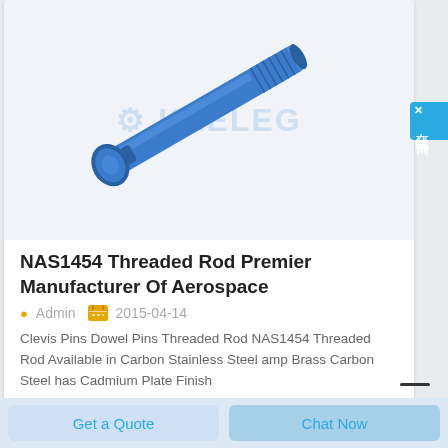[Figure (photo): Blue anodized NAS1454 threaded rod/bolt with threaded end at top-right and cylindrical head at bottom-left, on white/light gray background with KEELEG watermark]
NAS1454 Threaded Rod Premier Manufacturer Of Aerospace
Admin   2015-04-14
Clevis Pins Dowel Pins Threaded Rod NAS1454 Threaded Rod Available in Carbon Stainless Steel amp Brass Carbon Steel has Cadmium Plate Finish